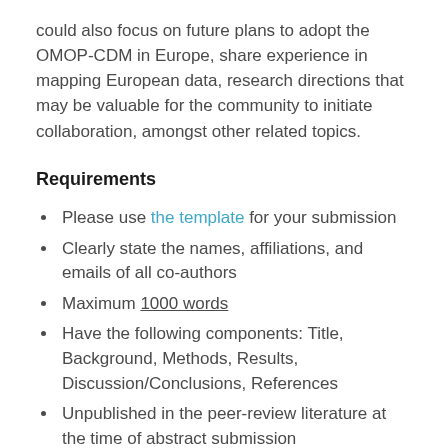could also focus on future plans to adopt the OMOP-CDM in Europe, share experience in mapping European data, research directions that may be valuable for the community to initiate collaboration, amongst other related topics.
Requirements
Please use the template for your submission
Clearly state the names, affiliations, and emails of all co-authors
Maximum 1000 words
Have the following components: Title, Background, Methods, Results, Discussion/Conclusions, References
Unpublished in the peer-review literature at the time of abstract submission
Figures, tables, and equations can be added to the abstract to support description of the methods or